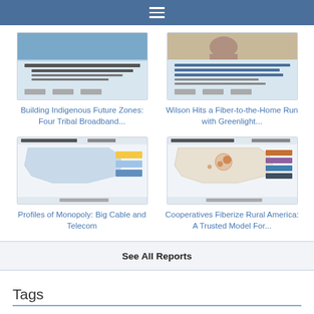[Figure (screenshot): Thumbnail of report: Building Indigenous Future Zones: Four Tribal Broadband Case Studies]
Building Indigenous Future Zones: Four Tribal Broadband...
[Figure (screenshot): Thumbnail of report: Wilson Hits a Fiber-to-the-Home Run with Greenlight Municipal Broadband Network]
Wilson Hits a Fiber-to-the-Home Run with Greenlight...
[Figure (map): Thumbnail map: Profiles of Monopoly: Big Cable and Telecom - US map with network coverage]
Profiles of Monopoly: Big Cable and Telecom
[Figure (map): Thumbnail map: Cooperatives Fiberize Rural America: A Trusted Model For... - US map with cooperative fiber networks]
Cooperatives Fiberize Rural America: A Trusted Model For...
See All Reports
Tags
at&t audio broadband bits california